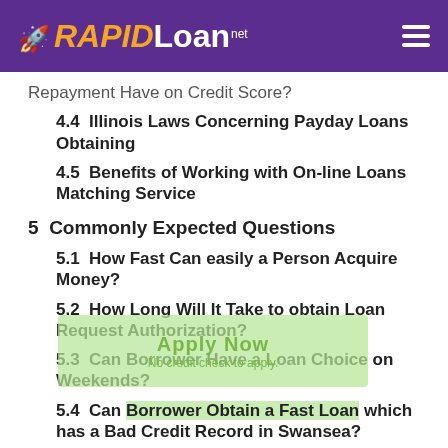RAPIDLoan.net
Repayment Have on Credit Score?
4.4  Illinois Laws Concerning Payday Loans Obtaining
4.5  Benefits of Working with On-line Loans Matching Service
5  Commonly Expected Questions
5.1  How Fast Can easily a Person Acquire Money?
5.2  How Long Will It Take to obtain Loan Request Authorization?
5.3  Can Borrower Have a Loan Choice on Weekends?
5.4  Can Borrower Obtain a Fast Loan which has a Bad Credit Record in Swansea?
5.5  Can easily a Person Get a Payday Loan with no Credit History Experience in Swansea?